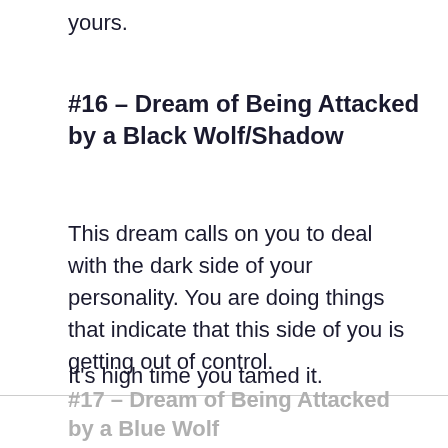yours.
#16 – Dream of Being Attacked by a Black Wolf/Shadow
This dream calls on you to deal with the dark side of your personality. You are doing things that indicate that this side of you is getting out of control.
It's high time you tamed it.
#17 – Dream of Being Attacked by a Blue Wolf